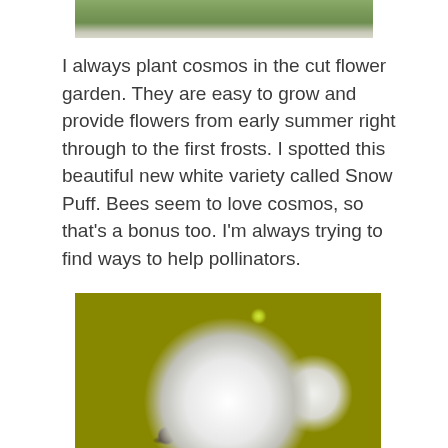[Figure (photo): Partial view of cosmos flowers at the top of the page, cropped — showing white petals and green foliage background]
I always plant cosmos in the cut flower garden. They are easy to grow and provide flowers from early summer right through to the first frosts. I spotted this beautiful new white variety called Snow Puff. Bees seem to love cosmos, so that's a bonus too. I'm always trying to find ways to help pollinators.
[Figure (photo): Close-up photograph of a white cosmos Snow Puff flower with a bumblebee visible at the bottom center of the bloom, green foliage and another white cosmos flower in the background]